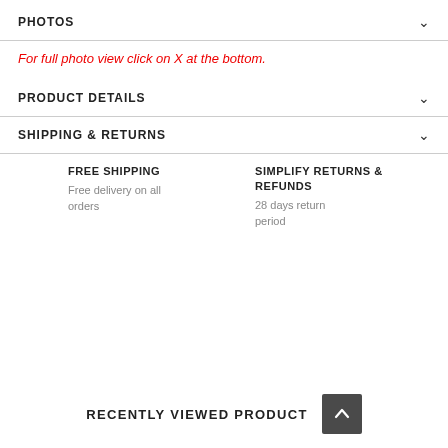PHOTOS
For full photo view click on X at the bottom.
PRODUCT DETAILS
SHIPPING & RETURNS
FREE SHIPPING
Free delivery on all orders
SIMPLIFY RETURNS & REFUNDS
28 days return period
RECENTLY VIEWED PRODUCT